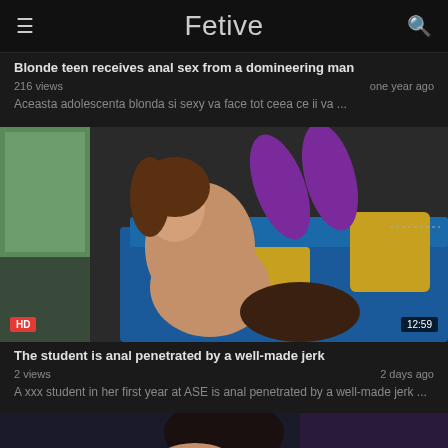Fetive
Blonde teen receives anal sex from a domineering man
216 views | one year ago
Aceasta adolescenta blonda si sexy va face tot ceea ce ii va ...
[Figure (photo): Video thumbnail showing a young woman in purple stockings on a blue sofa, with HD badge and 12:59 duration]
The student is anal penetrated by a well-made jerk
2 views | 2 days ago
A xxx student in her first year at ASE is anal penetrated by a well-made jerk ...
[Figure (photo): Partial video thumbnail showing a dark-haired woman, bottom portion of page]